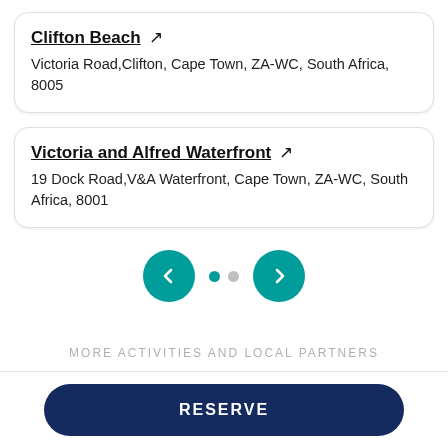Clifton Beach ↗
Victoria Road,Clifton, Cape Town, ZA-WC, South Africa, 8005
Victoria and Alfred Waterfront ↗
19 Dock Road,V&A Waterfront, Cape Town, ZA-WC, South Africa, 8001
[Figure (other): Navigation row with left arrow button (teal circle), two dots (active teal and inactive grey), and right arrow button (teal circle)]
MORE ACTIVITIES AND LOCAL PARTNERS
RESERVE